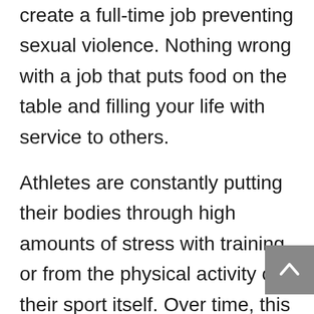create a full-time job preventing sexual violence. Nothing wrong with a job that puts food on the table and filling your life with service to others.
Athletes are constantly putting their bodies through high amounts of stress with training or from the physical activity of their sport itself. Over time, this trauma and wear and tear on the body can have a negative affect, thereby causing the individual to start thinking about remedies they can use to help their body. Athletes who have discovered CBD have begun to realize there are positive aspects that come with this compound. These ideas are what every athlete, or someone who participates in strenuous activities, should